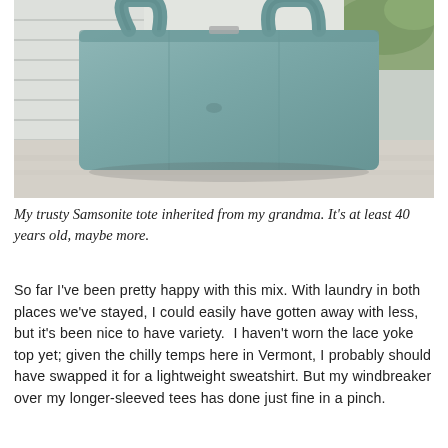[Figure (photo): A teal/dusty-blue Samsonite tote bag sitting on a light concrete or stone surface, with white horizontal siding visible in the background. The bag has two shoulder straps and a textured fabric exterior.]
My trusty Samsonite tote inherited from my grandma. It's at least 40 years old, maybe more.
So far I've been pretty happy with this mix. With laundry in both places we've stayed, I could easily have gotten away with less, but it's been nice to have variety.  I haven't worn the lace yoke top yet; given the chilly temps here in Vermont, I probably should have swapped it for a lightweight sweatshirt. But my windbreaker over my longer-sleeved tees has done just fine in a pinch.